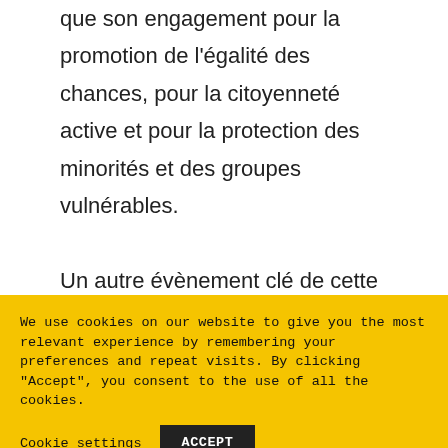que son engagement pour la promotion de l'égalité des chances, pour la citoyenneté active et pour la protection des minorités et des groupes vulnérables.

Un autre évènement clé de cette rencontre a été la visite à l'assemblée de Vojvodina, où
We use cookies on our website to give you the most relevant experience by remembering your preferences and repeat visits. By clicking "Accept", you consent to the use of all the cookies.
Cookie settings
ACCEPT